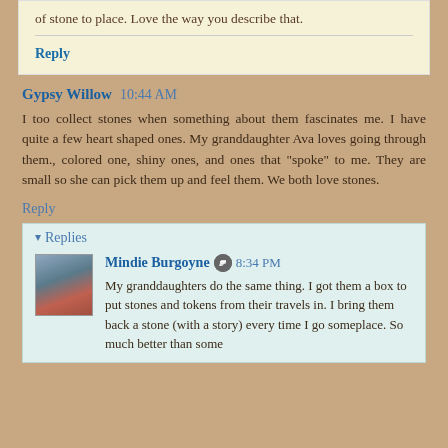of stone to place. Love the way you describe that.
Reply
Gypsy Willow  10:44 AM
I too collect stones when something about them fascinates me. I have quite a few heart shaped ones. My granddaughter Ava loves going through them., colored one, shiny ones, and ones that "spoke" to me. They are small so she can pick them up and feel them. We both love stones.
Reply
Replies
Mindie Burgoyne  8:34 PM
My granddaughters do the same thing. I got them a box to put stones and tokens from their travels in. I bring them back a stone (with a story) every time I go someplace. So much better than some